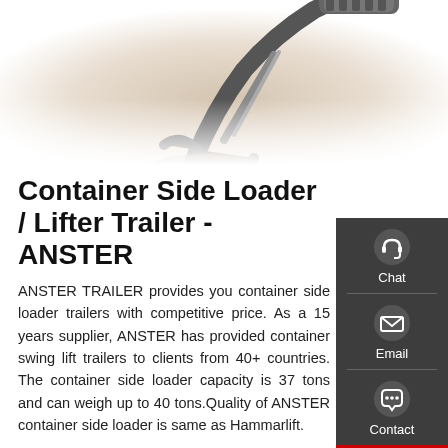[Figure (photo): Industrial excavator or heavy machinery arm with rock and crawler tracks, photographed from below against white background.]
Container Side Loader / Lifter Trailer - ANSTER
ANSTER TRAILER provides you container side loader trailers with competitive price. As a 15 years supplier, ANSTER has provided container swing lift trailers to clients from 40+ countries. The container side loader capacity is 37 tons and can weigh up to 40 tons.Quality of ANSTER container side loader is same as Hammarlift.
[Figure (infographic): Sidebar with dark grey background containing three items: Chat (headset icon), Email (envelope icon), Contact (speech bubble icon). Bottom border is red.]
Get a Quote